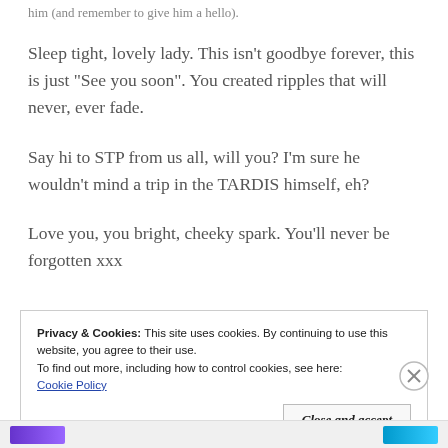him (and remember to give him a hello).
Sleep tight, lovely lady. This isn’t goodbye forever, this is just “See you soon”. You created ripples that will never, ever fade.
Say hi to STP from us all, will you? I’m sure he wouldn’t mind a trip in the TARDIS himself, eh?
Love you, you bright, cheeky spark. You’ll never be forgotten xxx
Privacy & Cookies: This site uses cookies. By continuing to use this website, you agree to their use.
To find out more, including how to control cookies, see here: Cookie Policy
Close and accept